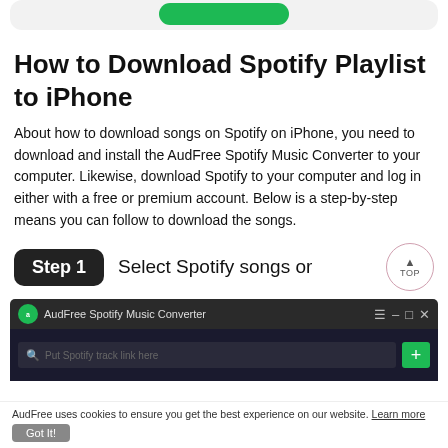[Figure (other): Rounded card with green button at top]
How to Download Spotify Playlist to iPhone
About how to download songs on Spotify on iPhone, you need to download and install the AudFree Spotify Music Converter to your computer. Likewise, download Spotify to your computer and log in either with a free or premium account. Below is a step-by-step means you can follow to download the songs.
[Figure (screenshot): Step 1 badge with text 'Select Spotify songs or' and AudFree Spotify Music Converter application window screenshot showing search bar with 'Put Spotify track link here' placeholder and a green plus button]
AudFree uses cookies to ensure you get the best experience on our website. Learn more Got It!